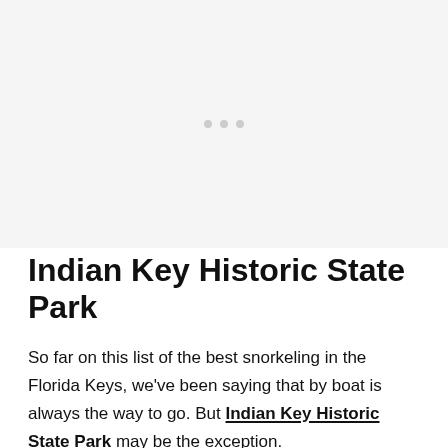[Figure (photo): Image placeholder area with three small grey dots centered, representing a loading or missing image for Indian Key Historic State Park]
Indian Key Historic State Park
So far on this list of the best snorkeling in the Florida Keys, we've been saying that by boat is always the way to go. But Indian Key Historic State Park may be the exception.